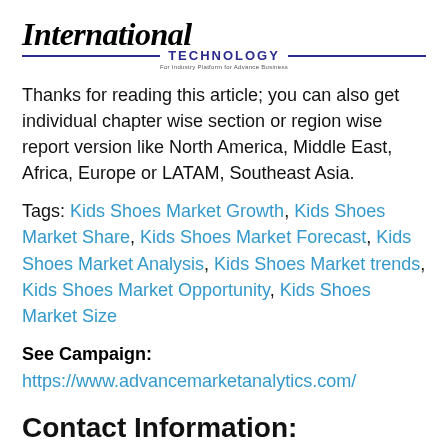[Figure (logo): International Technology logo with italic serif 'International' text, blue horizontal lines, and 'TECHNOLOGY' in blue capital letters with a small tagline below]
Thanks for reading this article; you can also get individual chapter wise section or region wise report version like North America, Middle East, Africa, Europe or LATAM, Southeast Asia.
Tags: Kids Shoes Market Growth, Kids Shoes Market Share, Kids Shoes Market Forecast, Kids Shoes Market Analysis, Kids Shoes Market trends, Kids Shoes Market Opportunity, Kids Shoes Market Size
See Campaign:
https://www.advancemarketanalytics.com/
Contact Information: